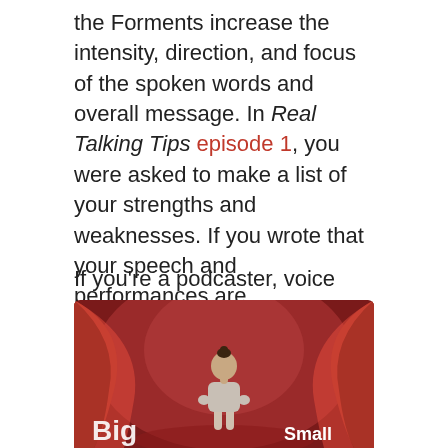the Forments increase the intensity, direction, and focus of the spoken words and overall message. In Real Talking Tips episode 1, you were asked to make a list of your strengths and weaknesses. If you wrote that your speech and performances are inconsistent, defining the power box area of your message can help address that issue.
If you're a podcaster, voice actor, presenter, business executive, sales associate, or need to communicate better with your team, pay close attention to these next two sections.
[Figure (illustration): Illustration of a woman presenter on a stage with red curtains, with text 'Big' on the left and 'Small' on the right]